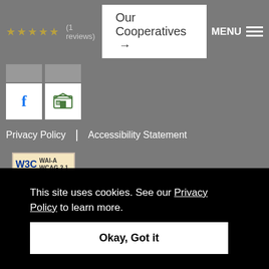[Figure (screenshot): Navigation bar with star rating (1 reviews), Our Cooperatives button with arrow, and MENU button]
[Figure (other): Social media icons: Facebook (f) and Google My Business store icon]
Privacy Policy | Accessibility Statement
[Figure (logo): W3C WAI-A WCAG 2.1 accessibility badge]
Copyright © 2022 Applewood Pointe of Woodbury
[Figure (other): Equal housing opportunity icon and accessibility/wheelchair icon]
This site uses cookies. See our Privacy Policy to learn more.
Okay, Got it